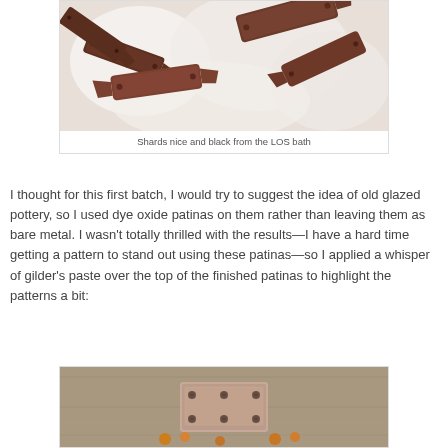[Figure (photo): Metal shards with dark patina from a LOS (liver of sulfur) bath, scattered on a white fluffy surface]
Shards nice and black from the LOS bath
I thought for this first batch, I would try to suggest the idea of old glazed pottery, so I used dye oxide patinas on them rather than leaving them as bare metal. I wasn't totally thrilled with the results—I have a hard time getting a pattern to stand out using these patinas—so I applied a whisper of gilder's paste over the top of the finished patinas to highlight the patterns a bit:
[Figure (photo): Metal piece with patina and gilder's paste applied, shown on a wooden surface with some orange/gold accents]